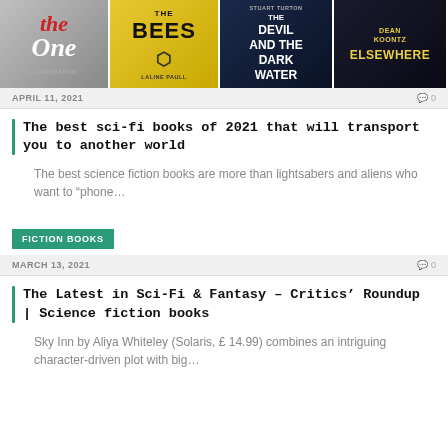[Figure (photo): Four book covers shown side by side: 'The One' by John Marrs, 'The Bees' by Laline Paull, 'The Devil and the Dark Water' by Stuart Turton, 'Elsewhere' by Dean Koontz]
APRIL 11, 2021
0
The best sci-fi books of 2021 that will transport you to another world
The best science fiction books are more than lightsabers and aliens who want to "phone...
FICTION BOOKS
MARCH 13, 2021
0
The Latest in Sci-Fi & Fantasy – Critics' Roundup | Science fiction books
Sky Inn by Aliya Whiteley (Solaris, £ 14.99) combines an intriguing character-driven plot with big...